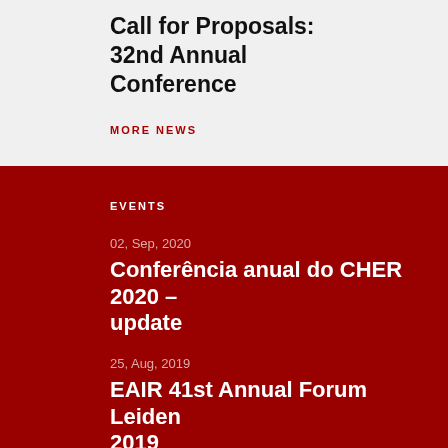Call for Proposals: 32nd Annual Conference
MORE NEWS
EVENTS
02, Sep, 2020
Conferência anual do CHER 2020 – update
25, Aug, 2019
EAIR 41st Annual Forum Leiden 2019
We use cookies to ensure the best browsing experience